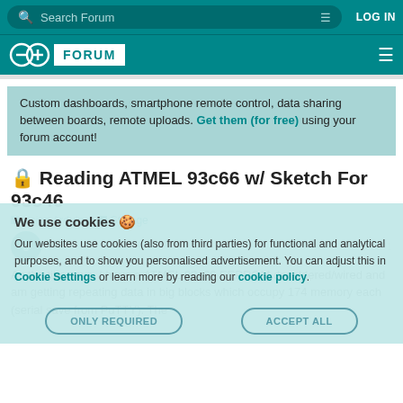Search Forum | LOG IN
∞ FORUM
Custom dashboards, smartphone remote control, data sharing between boards, remote uploads. Get them (for free) using your forum account!
Reading ATMEL 93c66 w/ Sketch For 93c46
Using Arduino | Storage
We use cookies 🍪
Our websites use cookies (also from third parties) for functional and analytical purposes, and to show you personalised advertisement. You can adjust this in Cookie Settings or learn more by reading our cookie policy.
As the title says, I have a ATMEL 93c66 EEPROM desoldered/wired and am getting repeating data in big blocks which occupy 174 memory each (serial save from PuTTY). The
ONLY REQUIRED | ACCEPT ALL